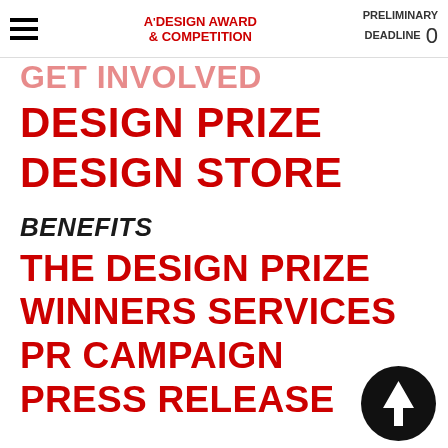A'DESIGN AWARD & COMPETITION | PRELIMINARY DEADLINE 0
GET INVOLVED
DESIGN PRIZE
DESIGN STORE
BENEFITS
THE DESIGN PRIZE
WINNERS SERVICES
PR CAMPAIGN
PRESS RELEASE
[Figure (illustration): Black circle with white upward arrow (scroll to top button)]